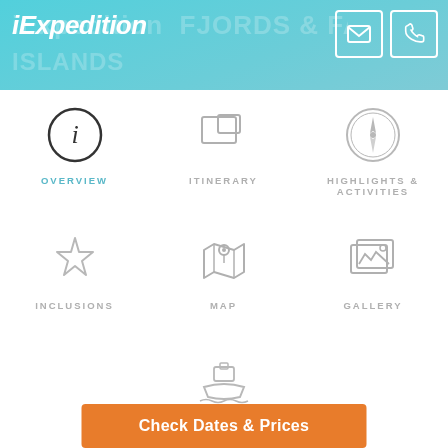iExpedition — FJORDS & FALKLAND ISLANDS
[Figure (screenshot): Navigation menu with icons: OVERVIEW (active, info icon), ITINERARY (monitor icon), HIGHLIGHTS & ACTIVITIES (compass icon), INCLUSIONS (star icon), MAP (map pin icon), GALLERY (image stack icon), VESSEL (ship icon)]
Check Dates & Prices